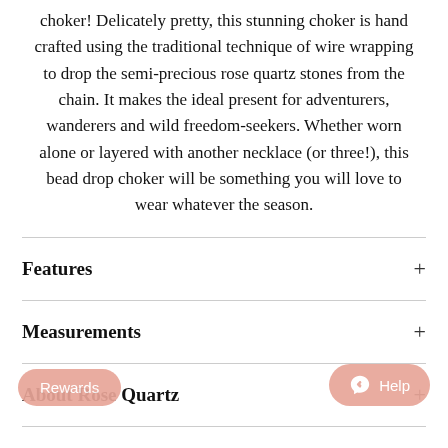choker! Delicately pretty, this stunning choker is hand crafted using the traditional technique of wire wrapping to drop the semi-precious rose quartz stones from the chain. It makes the ideal present for adventurers, wanderers and wild freedom-seekers. Whether worn alone or layered with another necklace (or three!), this bead drop choker will be something you will love to wear whatever the season.
Features
Measurements
About Rose Quartz
ging & Gift Wrap
Meet the Makers